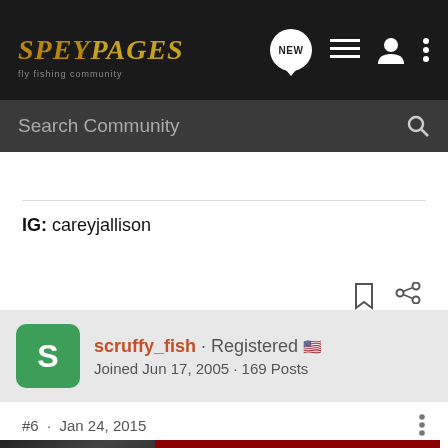SPEYPAGES - header navigation with search
IG: careyjallison
scruffy_fish · Registered  Joined Jun 17, 2005 · 169 Posts
#6 · Jan 24, 2015
Nice flie...
If I were... e Spey pattern ... f to the
[Figure (screenshot): Advertisement overlay: YOUR NEW FAVORITE SPORT - EXPLORE HOW TO RESPONSIBLY PARTICIPATE IN THE SHOOTING SPORTS. START HERE! on dark red background]